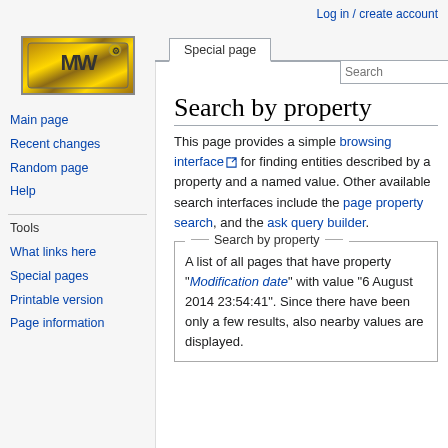Log in / create account
[Figure (logo): MediaWiki logo — golden/brown metallic gear-like emblem]
Special page
Search by property
This page provides a simple browsing interface for finding entities described by a property and a named value. Other available search interfaces include the page property search, and the ask query builder.
Search by property
A list of all pages that have property "Modification date" with value "6 August 2014 23:54:41". Since there have been only a few results, also nearby values are displayed.
Main page
Recent changes
Random page
Help
Tools
What links here
Special pages
Printable version
Page information